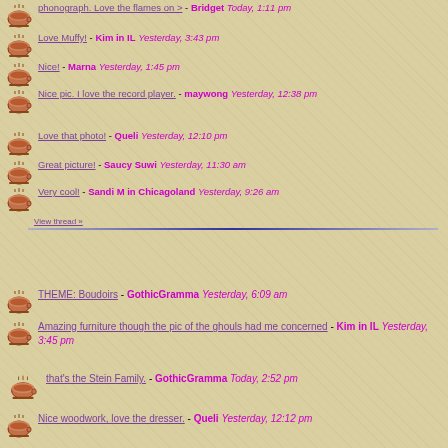phonograph. Love the flames on > - Bridget Today, 1:11 pm
Love Muffy! - Kim in IL Yesterday, 3:43 pm
Nice! - Marna Yesterday, 1:45 pm
Nice pic. I love the record player. - maywong Yesterday, 12:38 pm
Love that photo! - Queli Yesterday, 12:10 pm
Great picture! - Saucy Suwi Yesterday, 11:30 am
Very cool! - Sandi M in Chicagoland Yesterday, 9:26 am
View thread »
THEME: Boudoirs - GothicGramma Yesterday, 6:09 am
Amazing furniture though the pic of the ghouls had me concerned - Kim in IL Yesterday, 3:45 pm
that's the Stein Family. - GothicGramma Today, 2:52 pm
Nice woodwork, love the dresser. - Queli Yesterday, 12:12 pm